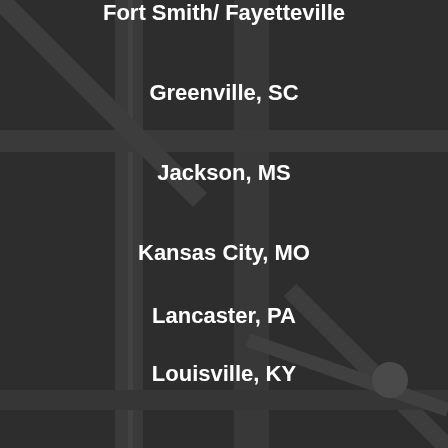Fort Smith/ Fayetteville
Greenville, SC
Jackson, MS
Kansas City, MO
Lancaster, PA
Louisville, KY
Manchester, NH
Milwaukee, WI
Monterey, CA
New Orleans, LA